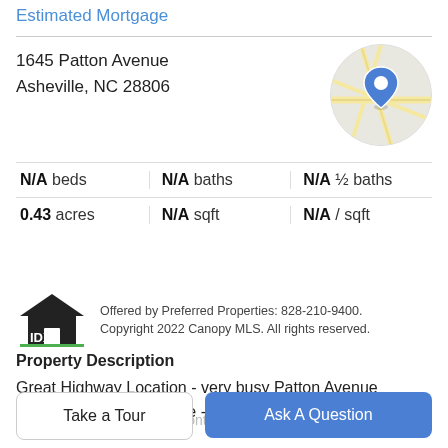Estimated Mortgage
1645 Patton Avenue
Asheville, NC 28806
[Figure (map): Circular map thumbnail showing street map with a blue location pin marker]
|  |  |  |
| --- | --- | --- |
| N/A beds | N/A baths | N/A ½ baths |
| 0.43 acres | N/A sqft | N/A / sqft |
Offered by Preferred Properties: 828-210-9400. Copyright 2022 Canopy MLS. All rights reserved.
Property Description
Great Highway Location - very busy Patton Avenue location in West Asheville - .43 acre lot with older home
given minimal value, road frontage, MULTIPLE
Take a Tour
Ask A Question